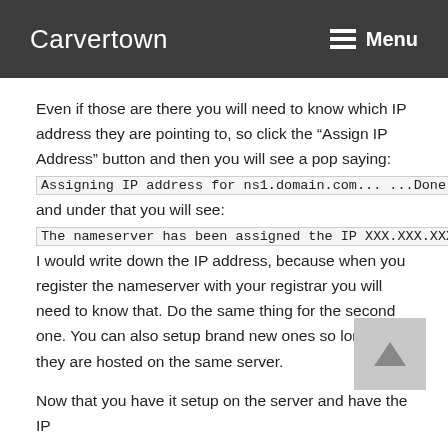Carvertown   Menu
Even if those are there you will need to know which IP address they are pointing to, so click the “Assign IP Address” button and then you will see a pop saying: Assigning IP address for ns1.domain.com... ...Done and under that you will see: The nameserver has been assigned the IP XXX.XXX.XXX.XXX. I would write down the IP address, because when you register the nameserver with your registrar you will need to know that. Do the same thing for the second one. You can also setup brand new ones so long as they are hosted on the same server.
Now that you have it setup on the server and have the IP